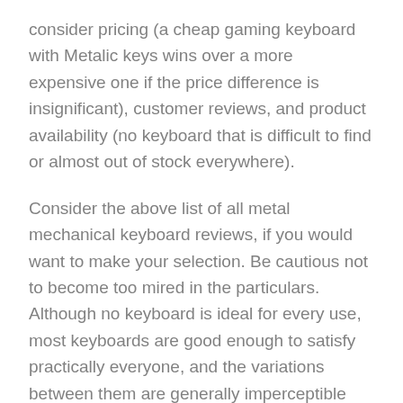consider pricing (a cheap gaming keyboard with Metalic keys wins over a more expensive one if the price difference is insignificant), customer reviews, and product availability (no keyboard that is difficult to find or almost out of stock everywhere).
Consider the above list of all metal mechanical keyboard reviews, if you would want to make your selection. Be cautious not to become too mired in the particulars. Although no keyboard is ideal for every use, most keyboards are good enough to satisfy practically everyone, and the variations between them are generally imperceptible unless you seek them. Ensure that you are aware of your key switch preferences before selecting.
Follow us online!